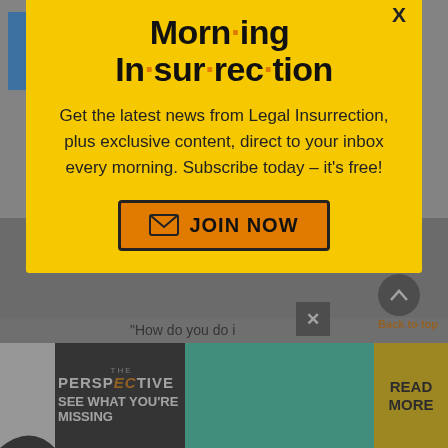Crawford in reply to punfundit. | July 29, 2012 at 6:18 pm
Ah, but Arizon courts have already ruled that declining to
[Figure (infographic): Morning Insurrection email signup modal overlay on a blog comment page. Yellow background popup with title 'Morn·ing In·sur·rec·tion', subtitle text about subscribing to Legal Insurrection newsletter, and an orange JOIN NOW button with envelope icon. X close button in top right.]
"How do you do i
[Figure (infographic): Ad banner for 'The Perspective' publication with text 'SEE WHAT YOU'RE MISSING' on dark background with teal section and yellow READ MORE button on right.]